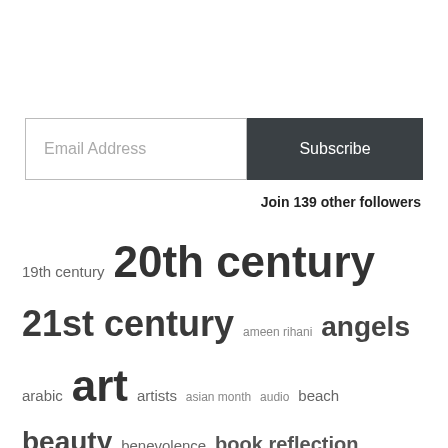[Figure (infographic): Email subscription form with text input labeled 'Email Address' and a dark 'Subscribe' button]
Join 139 other followers
[Figure (infographic): Tag cloud with words of varying sizes including: 19th century, 20th century, 21st century, ameen rihani, angels, arabic, art, artists, asian month, audio, beach, beauty, benevolence, book reflection, book review, books, boston, catholic, childhood, classical music, classics, creative process, dance, dreams, edna st. vincent millay, egypt, england, english, english literature, fairies, faith, fiction, food, french, fruit, fun, garden, ghazal, gratitude, handwritten, herbs, home, inspiring]